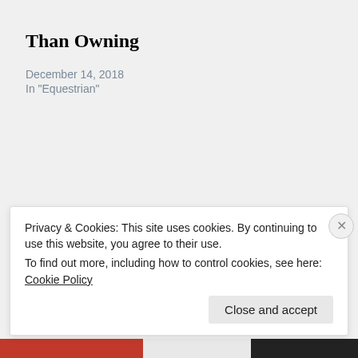Than Owning
December 14, 2018
In "Equestrian"
Published by Equestrian Insight
View all posts by Equestrian Insight
[Figure (photo): Circular avatar image for Equestrian Insight showing a horse and rider with text overlay 'EQUESTRIAN INSIGHT']
Privacy & Cookies: This site uses cookies. By continuing to use this website, you agree to their use.
To find out more, including how to control cookies, see here: Cookie Policy
Close and accept